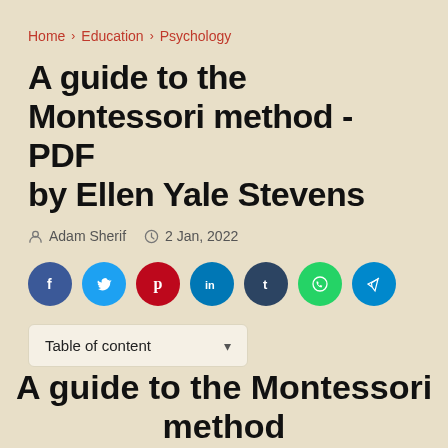Home > Education > Psychology
A guide to the Montessori method - PDF by Ellen Yale Stevens
Adam Sherif  2 Jan, 2022
[Figure (infographic): Social sharing buttons: Facebook (blue), Twitter (light blue), Pinterest (red), LinkedIn (dark blue), Tumblr (dark blue/navy), WhatsApp (green), Telegram (light blue)]
Table of content ▾
A guide to the Montessori method